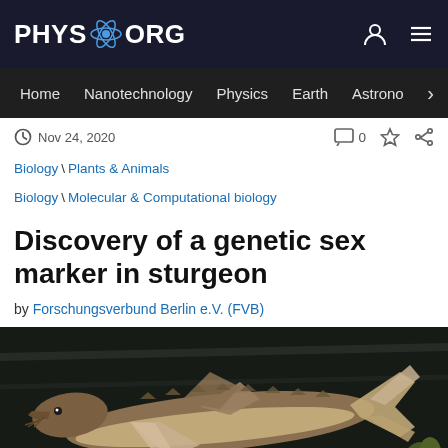PHYS.ORG
Home | Nanotechnology | Physics | Earth | Astronomy
Nov 24, 2020   0
Biology \ Plants & Animals
Biology \ Molecular & Computational biology
Discovery of a genetic sex marker in sturgeon
by Forschungsverbund Berlin e.V. (FVB)
[Figure (photo): Underwater photograph of a sturgeon fish swimming, showing fins and tail against a rocky background with algae]